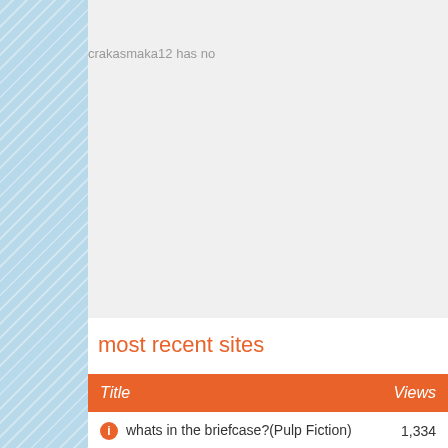[Figure (other): Blue decorative sidebar with diagonal chevron/wave pattern on the left side of the page]
crakasmaka12 has no
most recent sites
| Title | Views |
| --- | --- |
| whats in the briefcase?(Pulp Fiction) | 1,334 |